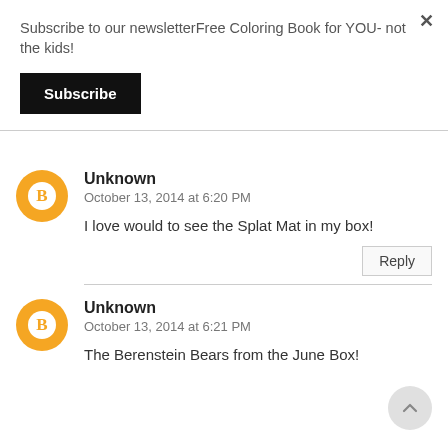Subscribe to our newsletterFree Coloring Book for YOU- not the kids!
Subscribe
Unknown
October 13, 2014 at 6:20 PM
I love would to see the Splat Mat in my box!
Reply
Unknown
October 13, 2014 at 6:21 PM
The Berenstein Bears from the June Box!